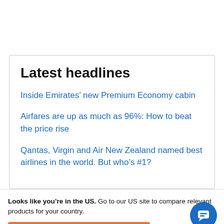Latest headlines
Inside Emirates’ new Premium Economy cabin
Airfares are up as much as 96%: How to beat the price rise
Qantas, Virgin and Air New Zealand named best airlines in the world. But who’s #1?
Looks like you’re in the US. Go to our US site to compare relevant products for your country.
Go to Finder US
No, stay on this page